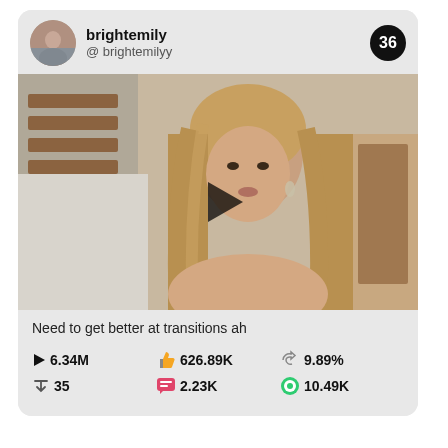brightemily
@ brightemilyy
36
[Figure (photo): Video thumbnail showing a young woman with long highlighted hair, wearing earrings, with a staircase visible in the background. A play button overlay is centered on the image.]
Need to get better at transitions ah
▶ 6.34M    👍 626.89K    🔄 9.89%
⬇ 35    💬 2.23K    🟢 10.49K